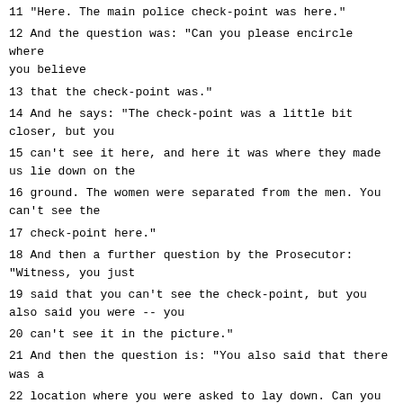11 "Here. The main police check-point was here."
12 And the question was: "Can you please encircle where you believe
13 that the check-point was."
14 And he says: "The check-point was a little bit closer, but you
15 can't see it here, and here it was where they made us lie down on the
16 ground. The women were separated from the men. You can't see the
17 check-point here."
18 And then a further question by the Prosecutor: "Witness, you just
19 said that you can't see the check-point, but you also said you were -- you
20 can't see it in the picture."
21 And then the question is: "You also said that there was a
22 location where you were asked to lay down. Can you encircle that place,